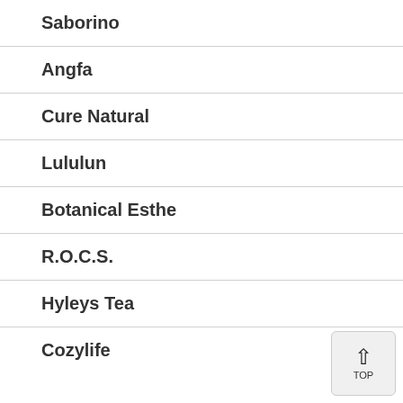Saborino
Angfa
Cure Natural
Lululun
Botanical Esthe
R.O.C.S.
Hyleys Tea
Cozylife